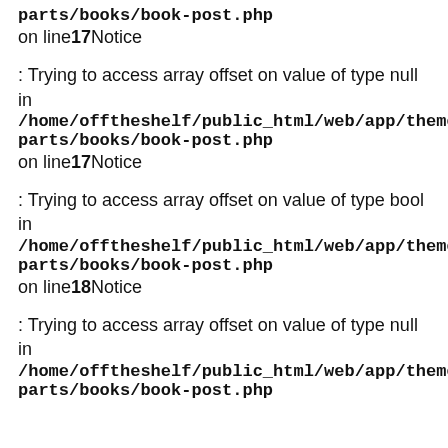parts/books/book-post.php
on line17Notice
: Trying to access array offset on value of type null in
/home/offtheshelf/public_html/web/app/theme parts/books/book-post.php
on line17Notice
: Trying to access array offset on value of type bool in
/home/offtheshelf/public_html/web/app/theme parts/books/book-post.php
on line18Notice
: Trying to access array offset on value of type null in
/home/offtheshelf/public_html/web/app/theme parts/books/book-post.php